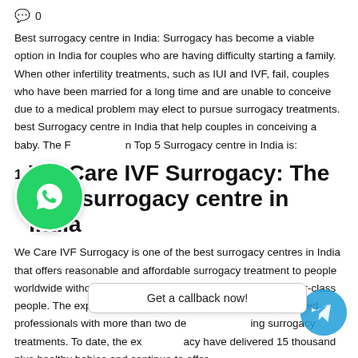0
Best surrogacy centre in India: Surrogacy has become a viable option in India for couples who are having difficulty starting a family. When other infertility treatments, such as IUI and IVF, fail, couples who have been married for a long time and are unable to conceive due to a medical problem may elect to pursue surrogacy treatments. best Surrogacy centre in India that help couples in conceiving a baby. The Following Top 5 Surrogacy centre in India is:
[Figure (logo): WhatsApp logo green circle icon]
We Care IVF Surrogacy: The best surrogacy centre in India
We Care IVF Surrogacy is one of the best surrogacy centres in India that offers reasonable and affordable surrogacy treatment to people worldwide without biasing between the lower, middle or upper-class people. The experts at this clinic are highly qualified and trained professionals with more than two decades of experience in providing surrogacy treatments. To date, the experts at We Care IVF Surrogacy have delivered 15 thousand plus healthy babies and continue to offer
[Figure (other): Get a callback now! button overlay with Telegram circle icon]